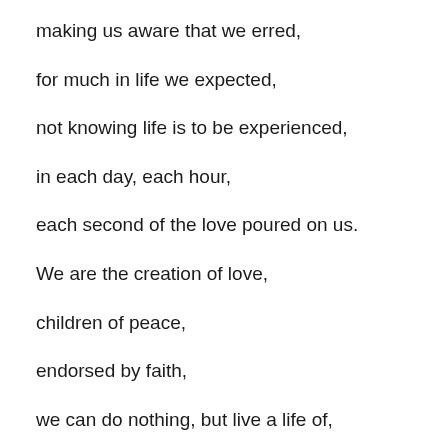making us aware that we erred,
for much in life we expected,
not knowing life is to be experienced,
in each day, each hour,
each second of the love poured on us.
We are the creation of love,
children of peace,
endorsed by faith,
we can do nothing, but live a life of,
faith and only faith.